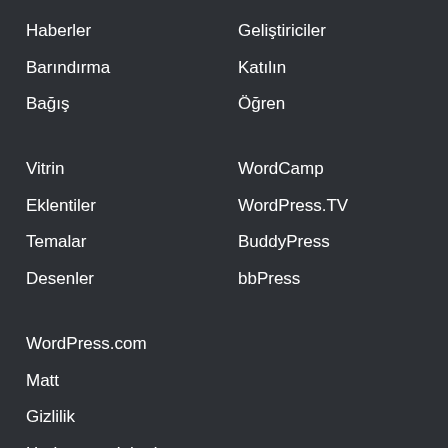Haberler
Barındırma
Bağış
Vitrin
Eklentiler
Temalar
Desenler
WordPress.com
Matt
Gizlilik
Herkese açık kod
Geliştiriciler
Katılın
Öğren
WordCamp
WordPress.TV
BuddyPress
bbPress